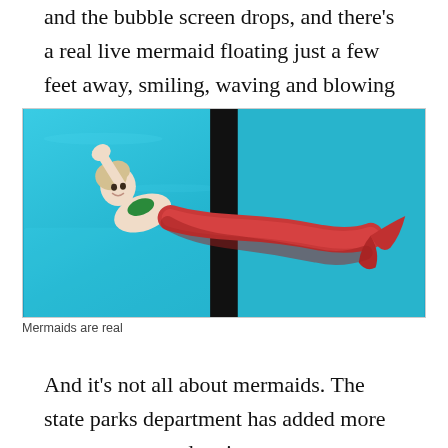and the bubble screen drops, and there's a real live mermaid floating just a few feet away, smiling, waving and blowing kisses at her.
[Figure (photo): Underwater photo of a performer dressed as a mermaid with a red tail, waving, viewed through a window panel with a dark divider in the middle.]
Mermaids are real
And it's not all about mermaids. The state parks department has added more programs around native